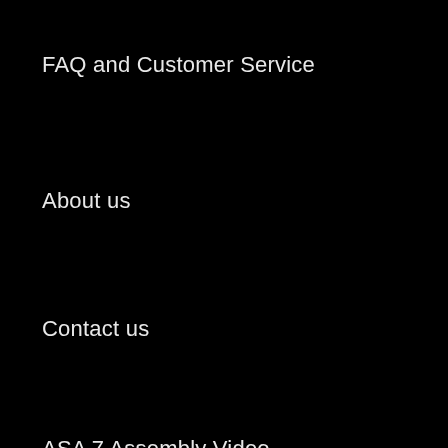FAQ and Customer Service
About us
Contact us
ASA 7 Assembly Video
Step by Step Instructions
Gallery
"In order to really enjoy a dog, one doesn't